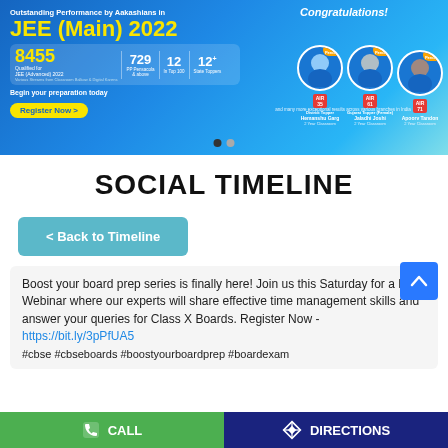[Figure (screenshot): Aakash JEE Main 2022 promotional banner showing outstanding performance stats, 8455 qualified for JEE Advanced, 729 PP Pensacola & above, 12 in Top 100, 12 State Toppers, with congratulations to top students Hemanshu Garg (AIR 35), Jaladhi Joshi (AIR 61), Apoorv Tandon (AIR 71), Register Now button]
SOCIAL TIMELINE
< Back to Timeline
Boost your board prep series is finally here! Join us this Saturday for a LIVE Webinar where our experts will share effective time management skills and answer your queries for Class X Boards. Register Now - https://bit.ly/3pPfUA5 #cbse #cbseboards #boostyourboardprep #boardexam
CALL   DIRECTIONS